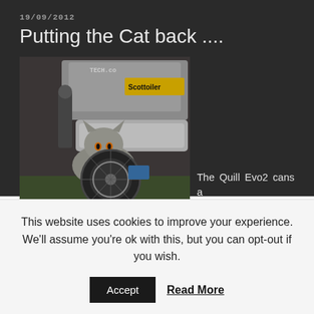19/09/2012
Putting the Cat back ....
[Figure (photo): A cat hiding underneath a motorcycle, visible between the exhaust pipes and rear wheel. Scottoiler and other brand stickers visible on the bike.]
The Quill Evo2 cans a pipes had been on the Capo for a couple of years and sadly
This website uses cookies to improve your experience. We'll assume you're ok with this, but you can opt-out if you wish.
Accept
Read More